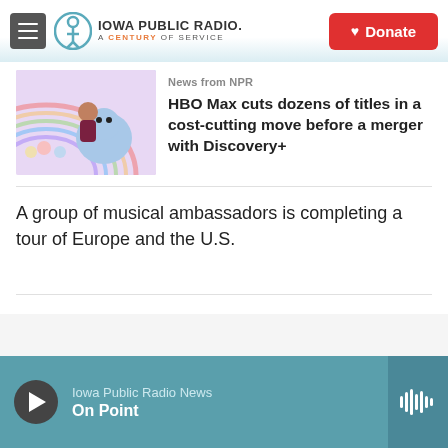Iowa Public Radio. A Century of Service. Donate
[Figure (screenshot): Animated cartoon thumbnail showing characters with a rainbow background]
News from NPR
HBO Max cuts dozens of titles in a cost-cutting move before a merger with Discovery+
A group of musical ambassadors is completing a tour of Europe and the U.S.
Iowa Public Radio News — On Point (player bar)